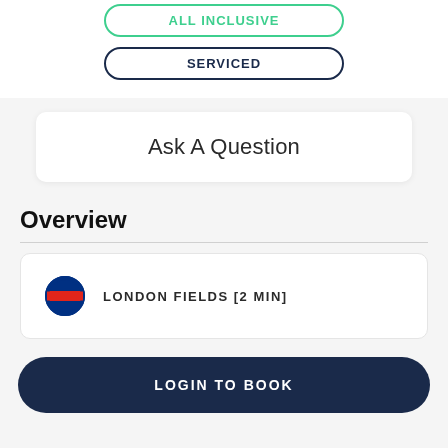ALL INCLUSIVE
SERVICED
Ask A Question
Overview
LONDON FIELDS [2 MIN]
LOGIN TO BOOK